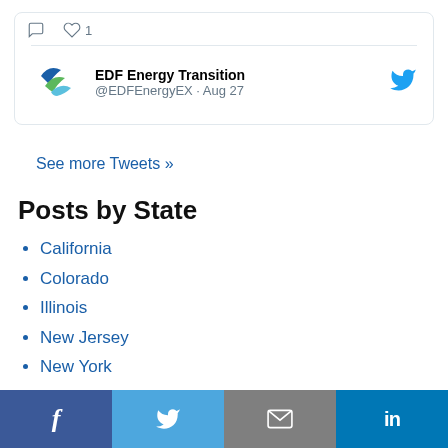[Figure (screenshot): Partial tweet card showing comment and heart icons with count 1, and a second tweet entry from EDF Energy Transition @EDFEnergyEX · Aug 27 with Twitter bird logo and EDF logo]
See more Tweets »
Posts by State
California
Colorado
Illinois
New Jersey
New York
North Carolina
Ohio
f  [Twitter bird]  [envelope]  in